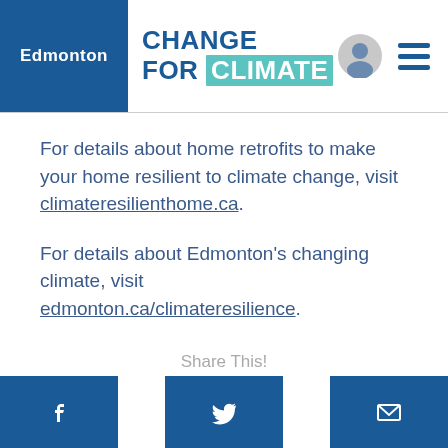Edmonton | Change For Climate
For details about home retrofits to make your home resilient to climate change, visit climateresilienthome.ca.
For details about Edmonton's changing climate, visit edmonton.ca/climateresilience.
Share This!
[Figure (other): Social share buttons row: Facebook, Twitter, Email]